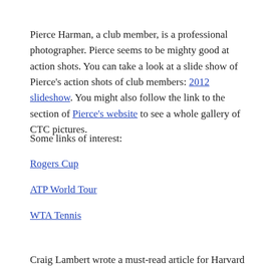Pierce Harman, a club member, is a professional photographer. Pierce seems to be mighty good at action shots. You can take a look at a slide show of Pierce's action shots of club members: 2012 slideshow. You might also follow the link to the section of Pierce's website to see a whole gallery of CTC pictures.
Some links of interest:
Rogers Cup
ATP World Tour
WTA Tennis
Craig Lambert wrote a must-read article for Harvard Magazine about Bruce Wright's take on the 'high set' strategy and new secret to tennis. To buy the book: High Set